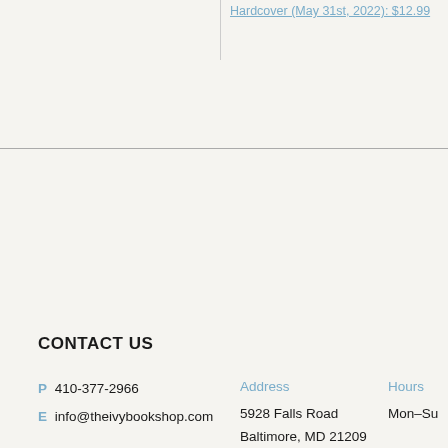Hardcover (May 31st, 2022): $12.99
CONTACT US
P 410-377-2966
E info@theivybookshop.com
Address
5928 Falls Road
Baltimore, MD 21209
Hours
Mon–Su
SUBSCR
All fields